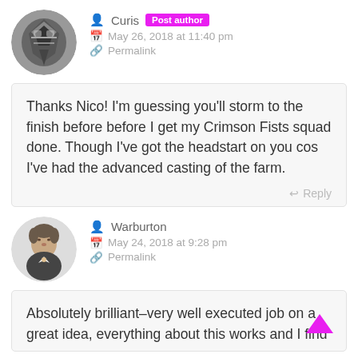Curis Post author
May 26, 2018 at 11:40 pm
Permalink
Thanks Nico! I'm guessing you'll storm to the finish before before I get my Crimson Fists squad done. Though I've got the headstart on you cos I've had the advanced casting of the farm.
Reply
Warburton
May 24, 2018 at 9:28 pm
Permalink
Absolutely brilliant–very well executed job on a great idea, everything about this works and I find